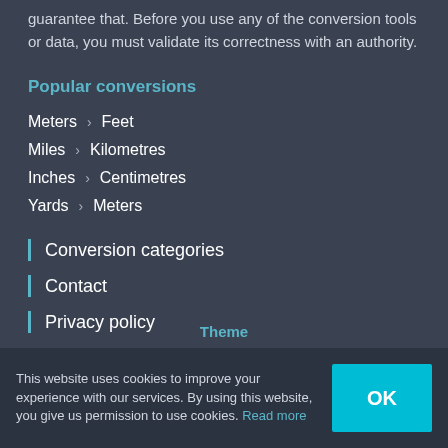guarantee that. Before you use any of the conversion tools or data, you must validate its correctness with an authority.
Popular conversions
Meters > Feet
Miles > Kilometres
Inches > Centimetres
Yards > Meters
Conversion categories
Contact
Privacy policy
Theme
This website uses cookies to improve your experience with our services. By using this website, you give us permission to use cookies. Read more